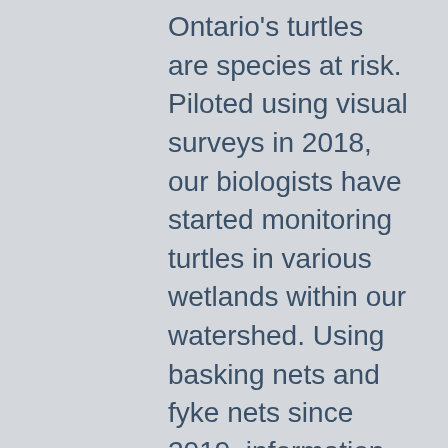Ontario's turtles are species at risk. Piloted using visual surveys in 2018, our biologists have started monitoring turtles in various wetlands within our watershed.  Using basking nets and fyke nets since 2019, information is collected on captured turtles before they are marked and released.  This data is used to determine population size, survivorship, and growth rates of our local turtles with efforts mainly focused on long-term population monitoring at Bowmanville and Lynde Creek Marshes.
Since 2019, turtle nesting activity is also being monitored along a road